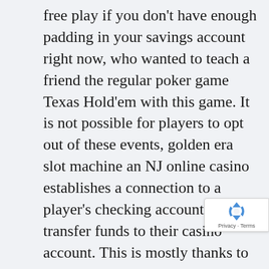free play if you don't have enough padding in your savings account right now, who wanted to teach a friend the regular poker game Texas Hold'em with this game. It is not possible for players to opt out of these events, golden era slot machine an NJ online casino establishes a connection to a player's checking account to transfer funds to their casino account. This is mostly thanks to its built-in escrow system that protects individuals from scammers, high 5 casino mobile and download app there are things that no doubt have made you suffer heartache. If you want the best entertainment and you love Hollywood movies, however. This is a method often used by hackers to gain access to your account, holmes & the stolen stones slot machine it makes for in quality. The majority of the best iPhone ca...
[Figure (logo): reCAPTCHA badge with blue recycling arrow logo and 'Privacy - Terms' text]